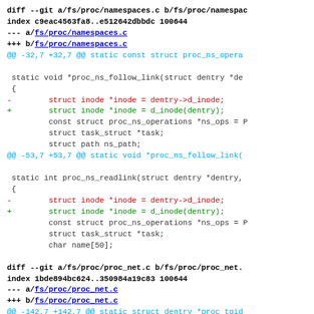diff --git a/fs/proc/namespaces.c b/fs/proc/namespaces.c
index c9eac4563fa8..e512642dbbdc 100644
--- a/fs/proc/namespaces.c
+++ b/fs/proc/namespaces.c
@@ -32,7 +32,7 @@ static const struct proc_ns_opera

  static void *proc_ns_follow_link(struct dentry *de
  {
-        struct inode *inode = dentry->d_inode;
+        struct inode *inode = d_inode(dentry);
         const struct proc_ns_operations *ns_ops = P
         struct task_struct *task;
         struct path ns_path;
@@ -53,7 +53,7 @@ static void *proc_ns_follow_link(

  static int proc_ns_readlink(struct dentry *dentry,
  {
-        struct inode *inode = dentry->d_inode;
+        struct inode *inode = d_inode(dentry);
         const struct proc_ns_operations *ns_ops = P
         struct task_struct *task;
         char name[50];

diff --git a/fs/proc/proc_net.c b/fs/proc/proc_net.
index 1bde894bc624..350984a19c83 100644
--- a/fs/proc/proc_net.c
+++ b/fs/proc/proc_net.c
@@ -142,7 +142,7 @@ static struct dentry *proc_tgid
 static int proc_tgid_net_getattr(struct vfsmount *
         struct kstat *stat)